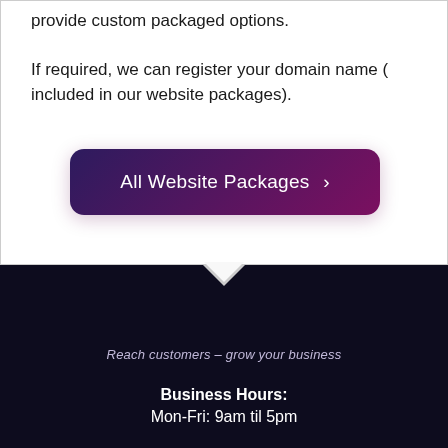provide custom packaged options. If required, we can register your domain name (included in our website packages).
[Figure (other): Button with gradient purple background reading 'All Website Packages ›']
Reach customers – grow your business
Business Hours:
Mon-Fri: 9am til 5pm